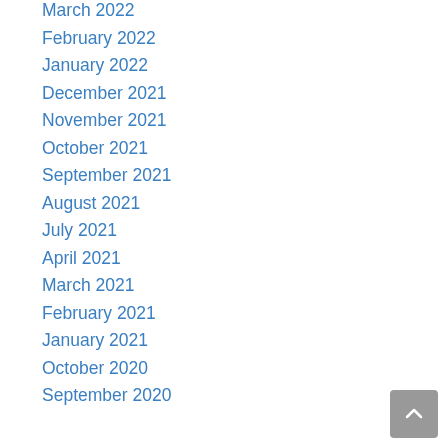March 2022
February 2022
January 2022
December 2021
November 2021
October 2021
September 2021
August 2021
July 2021
April 2021
March 2021
February 2021
January 2021
October 2020
September 2020